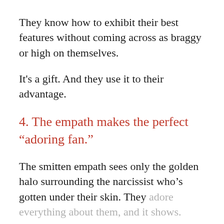They know how to exhibit their best features without coming across as braggy or high on themselves.
It's a gift. And they use it to their advantage.
4. The empath makes the perfect “adoring fan.”
The smitten empath sees only the golden halo surrounding the narcissist who’s gotten under their skin. They adore everything about them, and it shows.